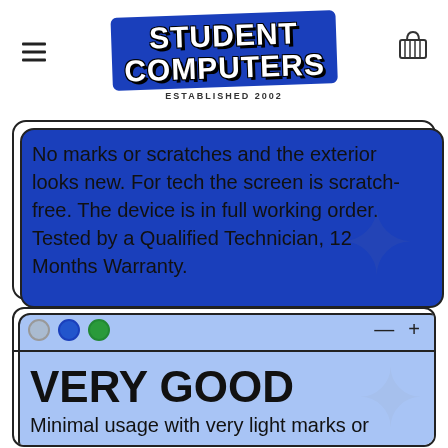[Figure (logo): Student Computers logo — bold white text on blue tilted badge, 'ESTABLISHED 2002' below]
No marks or scratches and the exterior looks new. For tech the screen is scratch-free. The device is in full working order. Tested by a Qualified Technician, 12 Months Warranty.
VERY GOOD
Minimal usage with very light marks or